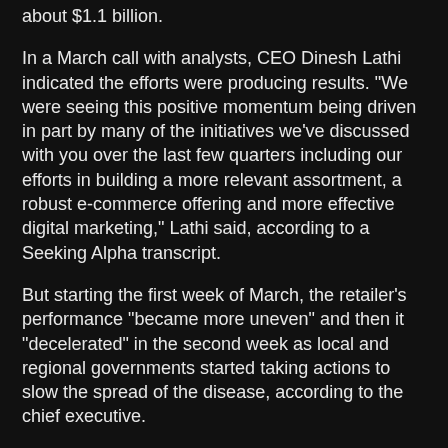about $1.1 billion.
In a March call with analysts, CEO Dinesh Lathi indicated the efforts were producing results. "We were seeing this positive momentum being driven in part by many of the initiatives we've discussed with you over the last few quarters including our efforts in building a more relevant assortment, a robust e-commerce offering and more effective digital marketing," Lathi said, according to a Seeking Alpha transcript.
But starting the first week of March, the retailer's performance "became more uneven" and then it "decelerated" in the second week as local and regional governments started taking actions to slow the spread of the disease, according to the chief executive.
Even as its stores reopen, the business apparel specialist now faces a potential acceleration of casualization in clothing, as workers around the country work from home. Moreover, retail sales in general face uncertainty, with the U.S. in recession and the coronavirus still spreading. Analysts with S&P Global have estimated that discretionary